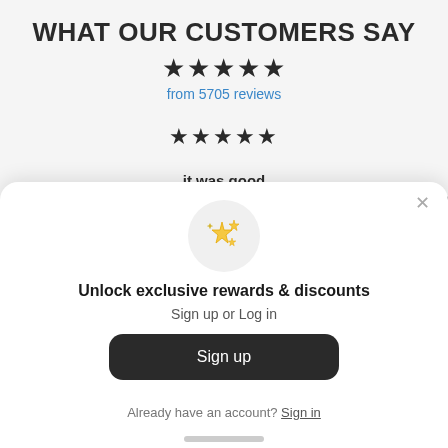WHAT OUR CUSTOMERS SAY
★★★★★
from 5705 reviews
★★★★★
it was good
quality and everything else is good
[Figure (illustration): Sparkle stars emoji icon inside a light gray circle]
Unlock exclusive rewards & discounts
Sign up or Log in
Sign up
Already have an account? Sign in